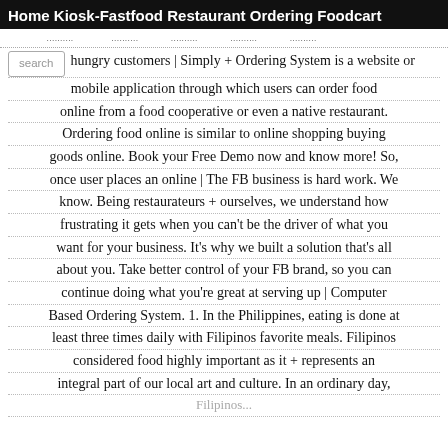Home  Kiosk-Fastfood  Restaurant Ordering  Foodcart
[sub navigation bar]
hungry customers | Simply + Ordering System is a website or mobile application through which users can order food online from a food cooperative or even a native restaurant. Ordering food online is similar to online shopping buying goods online. Book your Free Demo now and know more! So, once user places an online | The FB business is hard work. We know. Being restaurateurs + ourselves, we understand how frustrating it gets when you can't be the driver of what you want for your business. It's why we built a solution that's all about you. Take better control of your FB brand, so you can continue doing what you're great at serving up | Computer Based Ordering System. 1. In the Philippines, eating is done at least three times daily with Filipinos favorite meals. Filipinos considered food highly important as it + represents an integral part of our local art and culture. In an ordinary day, Filipinos...